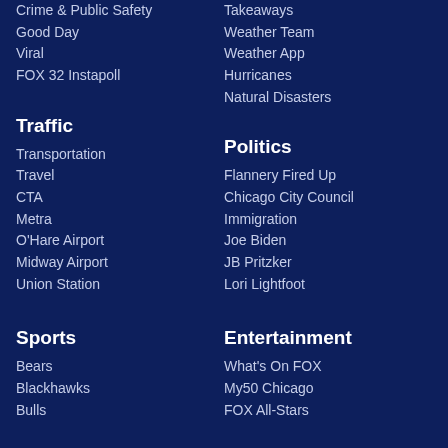Crime & Public Safety
Good Day
Viral
FOX 32 Instapoll
Takeaways
Weather Team
Weather App
Hurricanes
Natural Disasters
Traffic
Transportation
Travel
CTA
Metra
O'Hare Airport
Midway Airport
Union Station
Politics
Flannery Fired Up
Chicago City Council
Immigration
Joe Biden
JB Pritzker
Lori Lightfoot
Sports
Bears
Blackhawks
Bulls
Entertainment
What's On FOX
My50 Chicago
FOX All-Stars